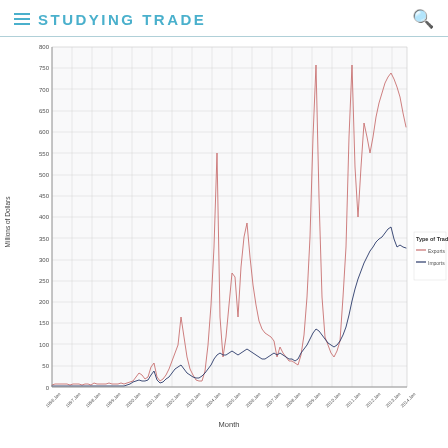STUDYING TRADE
[Figure (line-chart): Line chart showing Exports (red/pink line) and Imports (dark blue line) in Millions of Dollars over months from approximately 1996 to 2014. Exports show several sharp spikes reaching up to ~750-800 range, while Imports show a more gradual upward trend reaching ~230 by the end.]